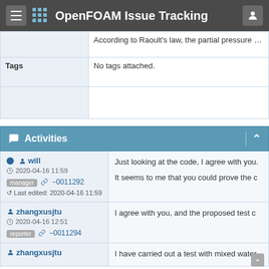OpenFOAM Issue Tracking
|  |  |
| --- | --- |
|  | According to Raoult's law, the partial pressure of each |
| Tags | No tags attached. |
|  |  |
Activities
will | 2020-04-16 11:59 | manager | -0011292 | Last edited: 2020-04-16 11:59 | Just looking at the code, I agree with you. | It seems to me that you could prove the c
zhangxusjtu | 2020-04-16 12:51 | reporter | -0011294 | I agree with you, and the proposed test c
zhangxusjtu | I have carried out a test with mixed water